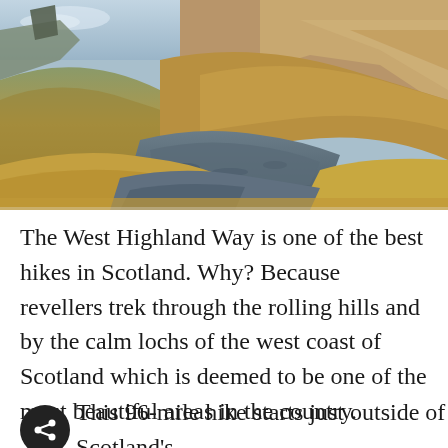[Figure (photo): Landscape photograph of Scottish Highlands showing a mountain valley with rolling golden-brown grass hills, rocky scree path cutting through the valley floor, blue-grey sky, and distant mountains with tan and brown tones — characteristic West Highland Way scenery.]
The West Highland Way is one of the best hikes in Scotland. Why? Because revellers trek through the rolling hills and by the calm lochs of the west coast of Scotland which is deemed to be one of the most beautiful areas in the country.
This 96-mile hike starts just outside of Scotland's